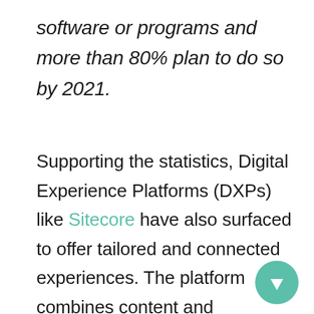software or programs and more than 80% plan to do so by 2021.
Supporting the statistics, Digital Experience Platforms (DXPs) like Sitecore have also surfaced to offer tailored and connected experiences. The platform combines content and commerce to ramp up conversion rate through personalization and focus on custom...